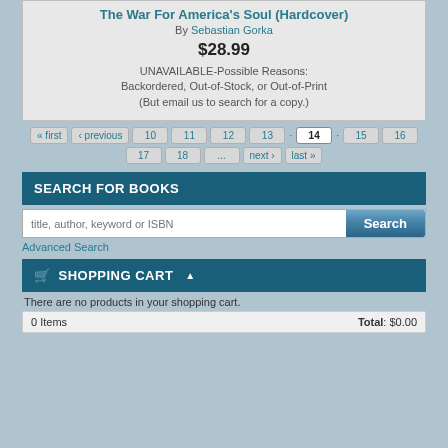The War For America's Soul (Hardcover)
By Sebastian Gorka
$28.99
UNAVAILABLE-Possible Reasons: Backordered, Out-of-Stock, or Out-of-Print (But email us to search for a copy.)
« first  ‹ previous  12  13  ·  14  ·  15  16  17  18  ...  next ›  last »  10  11
SEARCH FOR BOOKS
title, author, keyword or ISBN
Advanced Search
SHOPPING CART
There are no products in your shopping cart.
0 Items   Total: $0.00